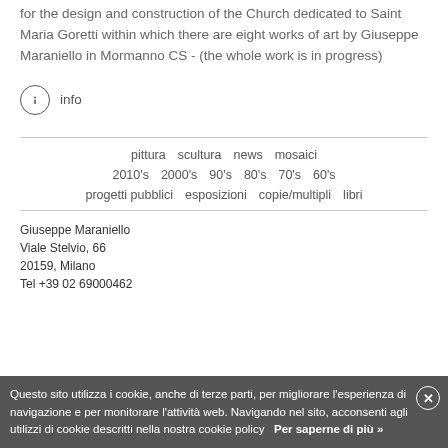for the design and construction of the Church dedicated to Saint Maria Goretti within which there are eight works of art by Giuseppe Maraniello in Mormanno CS - (the whole work is in progress)
ⓘ info
pittura  scultura  news  mosaici
2010's  2000's  90's  80's  70's  60's
progetti pubblici  esposizioni  copie/multipli  libri
Giuseppe Maraniello
Viale Stelvio, 66
20159, Milano
Tel +39 02 69000462
Questo sito utilizza i cookie, anche di terze parti, per migliorare l'esperienza di navigazione e per monitorare l'attività web. Navigando nel sito, acconsenti agli utilizzi di cookie descritti nella nostra cookie policy   Per saperne di più »